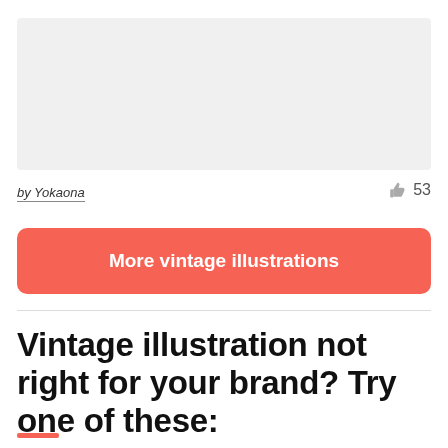[Figure (other): Light gray placeholder image area at top of page]
by Yokaona
53
More vintage illustrations
Vintage illustration not right for your brand? Try one of these: